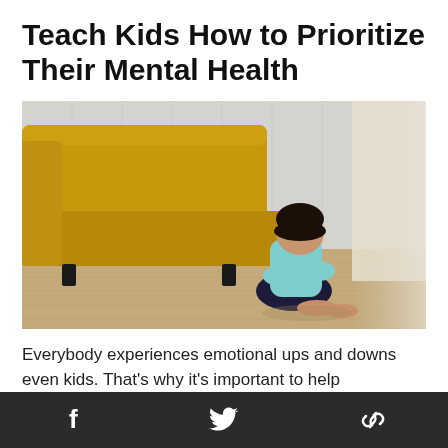Teach Kids How to Prioritize Their Mental Health
[Figure (photo): A young child sitting on the floor with knees drawn up to chest and head down, next to a yellow sofa, in a minimalist room with light wood flooring and a curtained window in the background.]
Everybody experiences emotional ups and downs even kids. That's why it's important to help
Facebook  Twitter  Link